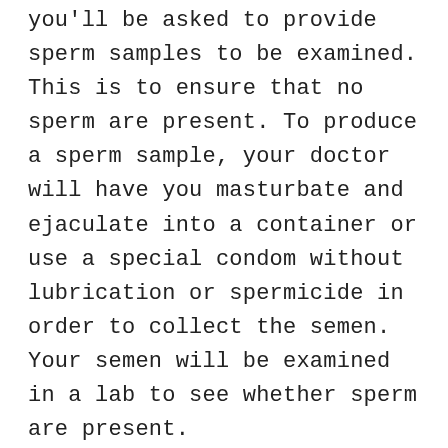you'll be asked to provide sperm samples to be examined. This is to ensure that no sperm are present. To produce a sperm sample, your doctor will have you masturbate and ejaculate into a container or use a special condom without lubrication or spermicide in order to collect the semen. Your semen will be examined in a lab to see whether sperm are present.
Vasectomy is an effective form of birth control. However, it will not protect you or your partner from sexually transmitted diseases, such as chlamydia or HIV/AIDS. Even after you have a vasectomy, you will still need to use condoms or other forms of protection if you are at risk of acquiring a sexually transmitted infection.